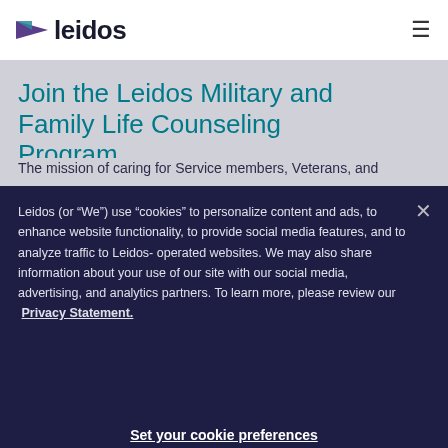leidos
Join the Leidos Military and Family Life Counseling Program
The mission of caring for Service members, Veterans, and
Leidos (or “We”) use “cookies” to personalize content and ads, to enhance website functionality, to provide social media features, and to analyze traffic to Leidos-operated websites. We may also share information about your use of our site with our social media, advertising, and analytics partners. To learn more, please review our Privacy Statement.
Set your cookie preferences